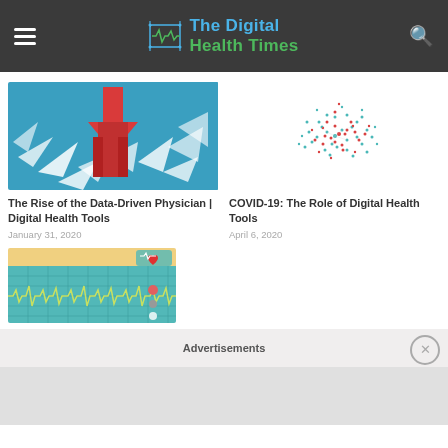The Digital Health Times
[Figure (illustration): Red arrow shattering through white geometric fragments on a blue background]
The Rise of the Data-Driven Physician | Digital Health Tools
January 31, 2020
[Figure (illustration): Network scatter plot of red and teal dots forming a cluster on white background]
COVID-19: The Role of Digital Health Tools
April 6, 2020
[Figure (illustration): Teal background with ECG waveform lines in yellow-green grid and a heart rate monitor icon]
Advertisements